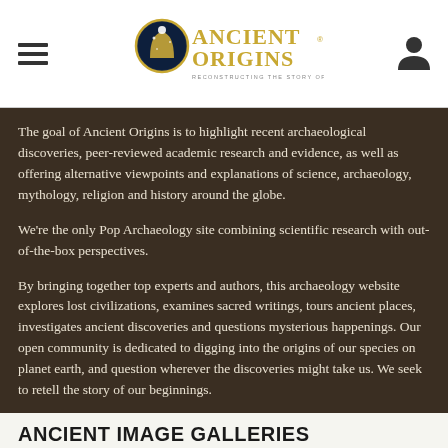Ancient Origins — Reconstructing the Story of Humanity's Past
The goal of Ancient Origins is to highlight recent archaeological discoveries, peer-reviewed academic research and evidence, as well as offering alternative viewpoints and explanations of science, archaeology, mythology, religion and history around the globe.
We're the only Pop Archaeology site combining scientific research with out-of-the-box perspectives.
By bringing together top experts and authors, this archaeology website explores lost civilizations, examines sacred writings, tours ancient places, investigates ancient discoveries and questions mysterious happenings. Our open community is dedicated to digging into the origins of our species on planet earth, and question wherever the discoveries might take us. We seek to retell the story of our beginnings.
ANCIENT IMAGE GALLERIES
[Figure (photo): Bottom strip of an ancient image gallery photo, showing blue sky and ancient structure partially visible]